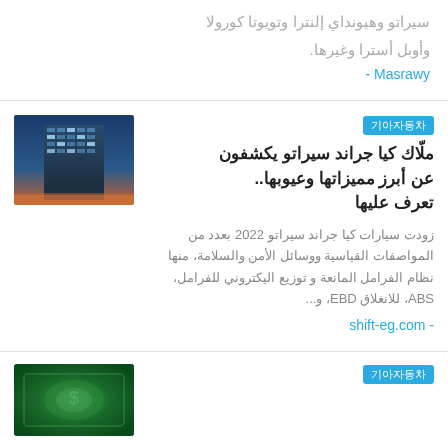سيراتو وهيونداي إلنترا وتويوتا كورولا وأوبل أسترا وغيرها.
- Masrawy
[Figure (photo): A modern high-rise building photographed at dusk with blue sky and orange lighting]
기아자동차
ملّاك كيا جراند سيراتو يكشفون عن أبرز مميزاتها وعيوبها.. تعرف عليها
زودت سيارات كيا جراند سيراتو 2022 بعدد من المواصفات القياسية ووسائل الأمن والسلامة، منها نظام الفرامل المانعة و توزيع اليكتروني للفرامل، ABS، للانغلاق EBD، و...
- shift-eg.com
[Figure (photo): Green money/currency close-up photo]
기아자동차